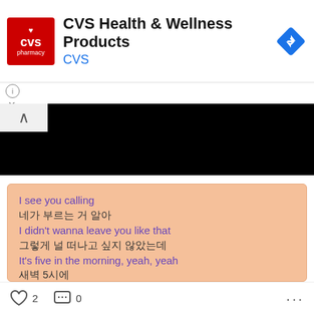[Figure (screenshot): CVS Health & Wellness Products advertisement banner with CVS pharmacy logo (red square with white text), title text 'CVS Health & Wellness Products' and subtitle 'CVS' in blue, and a blue navigation diamond icon on the right.]
[Figure (photo): Black redacted/censored bar covering content below the ad banner, with a white up-caret (^) button on the left side.]
I see you calling
네가 부르는 거 알아
I didn't wanna leave you like that
그렇게 널 떠나고 싶지 않았는데
It's five in the morning, yeah, yeah
새벽 5시에
A hundred on the dash
100마일(160km)로 달리는 중이야
'Cause my wheels are rolling
♡ 2   💬 0   ···